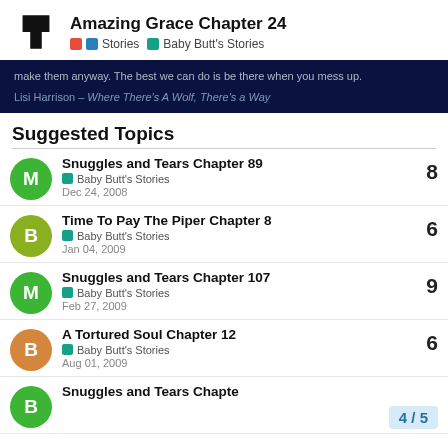Amazing Grace Chapter 24 — Stories > Baby Butt's Stories
make them anyway. The best we can do is be there when you mess up.
Lisi Harrison – Where There's A Wolf, There's a Way
Suggested Topics
Snuggles and Tears Chapter 89 — Baby Butt's Stories — Dec 24, 2008 — 8 replies
Time To Pay The Piper Chapter 8 — Baby Butt's Stories — Jan 04, 2009 — 6 replies
Snuggles and Tears Chapter 107 — Baby Butt's Stories — Feb 27, 2009 — 9 replies
A Tortured Soul Chapter 12 — Baby Butt's Stories — Aug 01, 2009 — 6 replies
Snuggles and Tears Chapte…
4 / 5